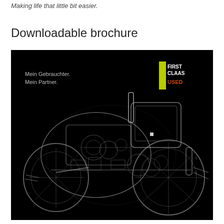Making life that little bit easier.
Downloadable brochure
[Figure (illustration): CLAAS First Class Used brochure cover showing an X-ray style cutaway illustration of a tractor on a black background, with German text 'Mein Gebrauchter. Mein Partner.' and the First Class Used logo in yellow/green.]